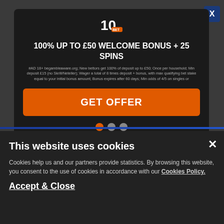[Figure (logo): 10Bet logo - white stylized 10 with BET text]
100% UP TO £50 WELCOME BONUS + 25 SPINS
#AD 18+; begambleaware.org; New bettors get 100% of deposit up to £50; Once per household; Min deposit £15 (no Skrill/Neteller); Wager a total of 8 times deposit + bonus, with max qualifying bet stake equal to your initial bonus amount; Bonus expires after 60 days; Min odds of 4/5 on singles or
GET OFFER
BettingOdds.com is committed to supporting Responsible Gambling Initiatives - For additional information visit: GamCare | BeGambleAware | Gamblers Anonymous
Content on BettingOdds.com is not intended for anybody under 18 years of age.
This website uses cookies
Cookies help us and our partners provide statistics. By browsing this website, you consent to the use of cookies in accordance with our Cookies Policy.
Accept & Close